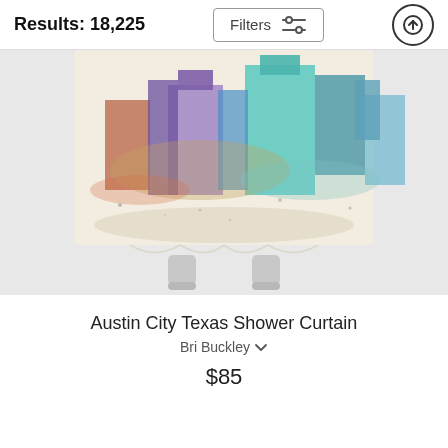Results: 18,225
[Figure (photo): Watercolor painting of Austin City Texas skyline printed on a shower curtain displayed on a stand. The painting features colorful splatter-style artwork with teal, purple, red, and green hues depicting city buildings.]
Austin City Texas Shower Curtain
Bri Buckley
$85